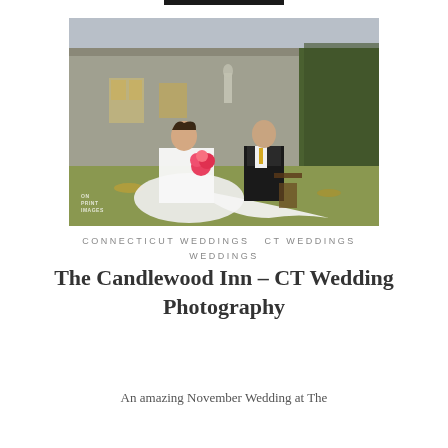[Figure (photo): Wedding photo of bride and groom posing outdoors in front of a stone building. The bride is in a white ball gown with a long train and holding a bright bouquet of flowers. The groom is in a black suit with a yellow boutonniere. They are seated/standing on grass with hedges in the background. Watermark reads ON PRINT IMAGES.]
CONNECTICUT WEDDINGS  CT WEDDINGS  WEDDINGS
The Candlewood Inn – CT Wedding Photography
An amazing November Wedding at The